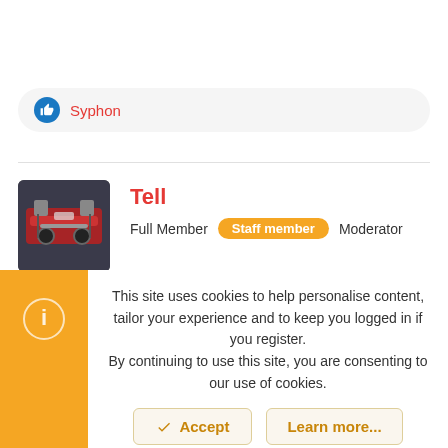👍 Syphon
[Figure (photo): Avatar image of a car engine, used as user profile picture for 'Tell']
Tell
Full Member  Staff member  Moderator
Jul 26, 2020  #9
A peaky boo can be made of the new Leon infotainment controls to
This site uses cookies to help personalise content, tailor your experience and to keep you logged in if you register.
By continuing to use this site, you are consenting to our use of cookies.
✔ Accept   Learn more...